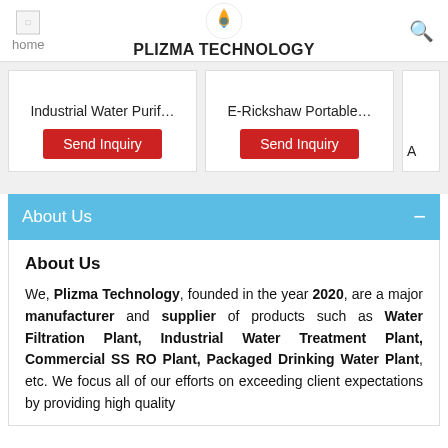PLIZMA TECHNOLOGY
[Figure (screenshot): Product card: Industrial Water Purif... with Send Inquiry button]
[Figure (screenshot): Product card: E-Rickshaw Portable... with Send Inquiry button]
About Us
About Us
We, Plizma Technology, founded in the year 2020, are a major manufacturer and supplier of products such as Water Filtration Plant, Industrial Water Treatment Plant, Commercial SS RO Plant, Packaged Drinking Water Plant, etc. We focus all of our efforts on exceeding client expectations by providing high quality